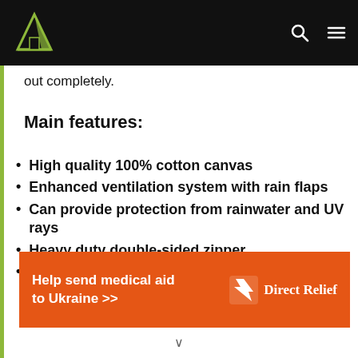[Navigation bar with logo, search and menu icons]
out completely.
Main features:
High quality 100% cotton canvas
Enhanced ventilation system with rain flaps
Can provide protection from rainwater and UV rays
Heavy duty double-sided zipper
Great tent for outdoor camping and events
[Figure (other): Advertisement banner: Help send medical aid to Ukraine >> | Direct Relief logo]